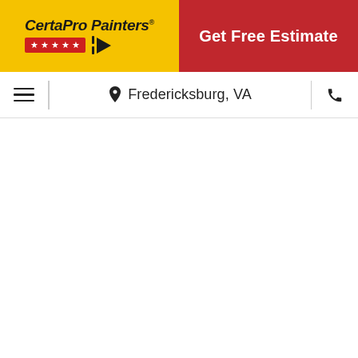[Figure (logo): CertaPro Painters logo with yellow background, italic bold text 'CertaPro Painters®', red banner with five white stars beneath, and a black stripe-and-arrow mark to the right]
Get Free Estimate
Fredericksburg, VA